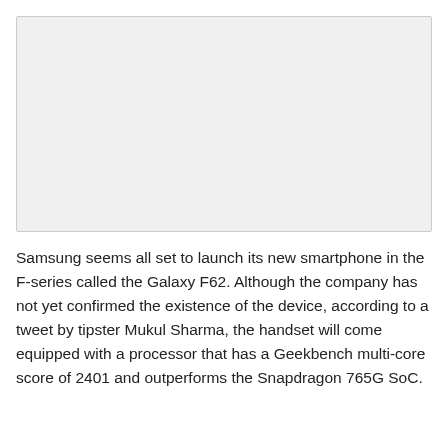[Figure (other): Placeholder image area, light gray background]
Samsung seems all set to launch its new smartphone in the F-series called the Galaxy F62. Although the company has not yet confirmed the existence of the device, according to a tweet by tipster Mukul Sharma, the handset will come equipped with a processor that has a Geekbench multi-core score of 2401 and outperforms the Snapdragon 765G SoC.